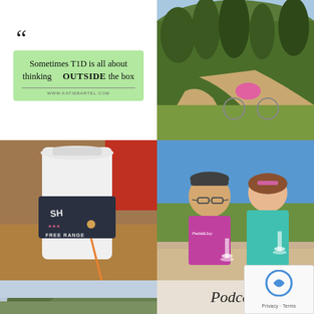[Figure (infographic): Green quote box with large quotation marks and text: 'Sometimes T1D is all about thinking OUTSIDE the box' with URL www.katiebartel.com]
[Figure (photo): Person in pink cycling gear bent over a bicycle on a dirt trail surrounded by green trees and grass]
[Figure (photo): Close-up of a coffee cup with a decorative sleeve reading 'Free Range' and other text, on a wooden table]
[Figure (photo): Two people smiling outdoors, one in cycling jersey reading 'Pedal & Joy', both holding wine glasses with scenic background]
[Figure (photo): Partial photo of an outdoor landscape with sky and trees at the bottom left]
Podcast
[Figure (other): reCAPTCHA privacy overlay with icon and Privacy · Terms text]